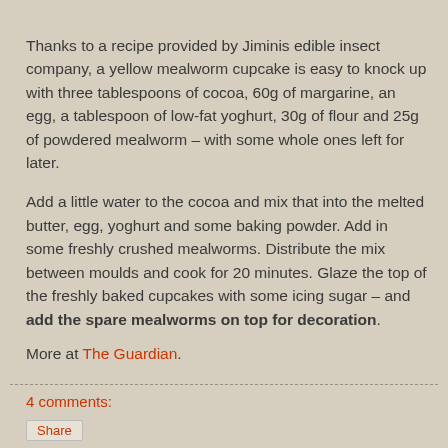Thanks to a recipe provided by Jiminis edible insect company, a yellow mealworm cupcake is easy to knock up with three tablespoons of cocoa, 60g of margarine, an egg, a tablespoon of low-fat yoghurt, 30g of flour and 25g of powdered mealworm – with some whole ones left for later.
Add a little water to the cocoa and mix that into the melted butter, egg, yoghurt and some baking powder. Add in some freshly crushed mealworms. Distribute the mix between moulds and cook for 20 minutes. Glaze the top of the freshly baked cupcakes with some icing sugar – and add the spare mealworms on top for decoration.
More at The Guardian.
4 comments:
Share